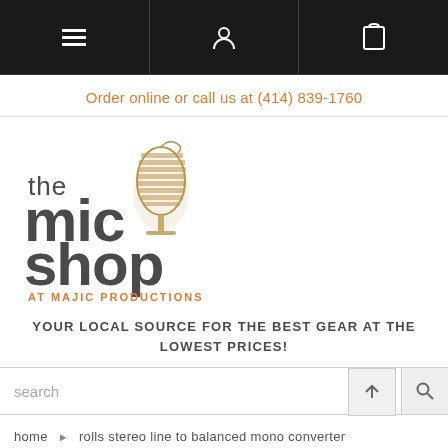Navigation bar with menu, account, and bag icons
Order online or call us at (414) 839-1760
[Figure (logo): The Mic Shop at Majic Productions logo with microphone illustration]
YOUR LOCAL SOURCE FOR THE BEST GEAR AT THE LOWEST PRICES!
search
home › rolls stereo line to balanced mono converter